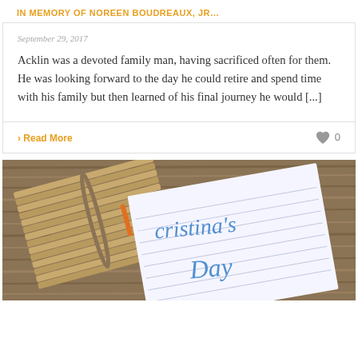IN MEMORY OF NOREEN BOUDREAUX, JR…
September 29, 2017
Acklin was a devoted family man, having sacrificed often for them. He was looking forward to the day he could retire and spend time with his family but then learned of his final journey he would [...]
› Read More    ♥ 0
[Figure (photo): Photo of a wooden notebook/journal with a handwritten note reading Christina's Day on lined paper, placed on a wooden surface]